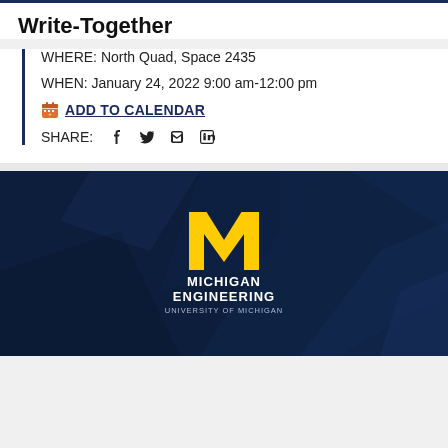Write-Together
WHERE: North Quad, Space 2435
WHEN: January 24, 2022 9:00 am-12:00 pm
ADD TO CALENDAR
SHARE: [Facebook] [Twitter] [LinkedIn] [Email]
[Figure (logo): University of Michigan Engineering logo — block M in yellow/gold on dark navy background, with text MICHIGAN ENGINEERING UNIVERSITY OF MICHIGAN]